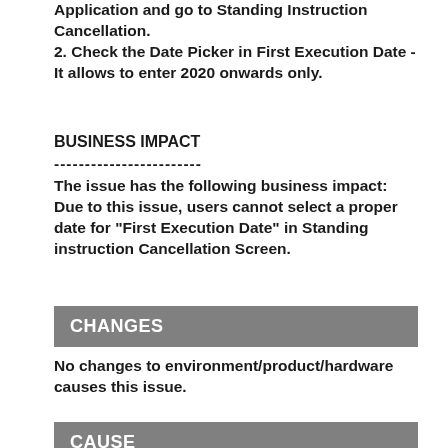Application and go to Standing Instruction Cancellation.
2. Check the Date Picker in First Execution Date - It allows to enter 2020 onwards only.
BUSINESS IMPACT
------------------------
The issue has the following business impact:
Due to this issue, users cannot select a proper date for "First Execution Date" in Standing instruction Cancellation Screen.
CHANGES
No changes to environment/product/hardware causes this issue.
CAUSE